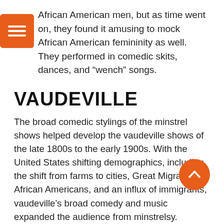African American men, but as time went on, they found it amusing to mock African American femininity as well. They performed in comedic skits, dances, and “wench” songs.
VAUDEVILLE
The broad comedic stylings of the minstrel shows helped develop the vaudeville shows of the late 1800s to the early 1900s. With the United States shifting demographics, including the shift from farms to cities, Great Migration of African Americans, and an influx of immigrants, vaudeville’s broad comedy and music expanded the audience from minstrelsy.
With vaudeville becoming more popular, it allowed female impersonators to become popular as well. Many female impersonators started with low comedy vaudeville and worked their way up to performing the prima donna. They were known to perform song and